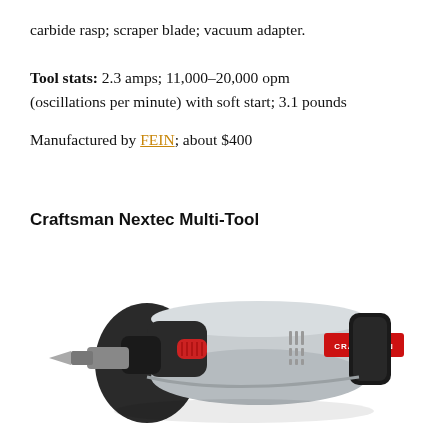carbide rasp; scraper blade; vacuum adapter.
Tool stats: 2.3 amps; 11,000–20,000 opm (oscillations per minute) with soft start; 3.1 pounds
Manufactured by FEIN; about $400
Craftsman Nextec Multi-Tool
[Figure (photo): Photo of a Craftsman Nextec Multi-Tool — a cordless oscillating tool in grey/black/red with the CRAFTSMAN logo on its body.]